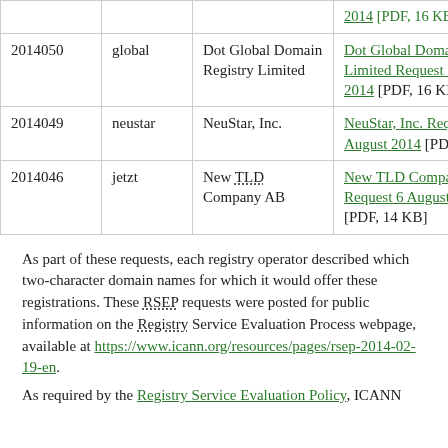|  |  |  |  |
| --- | --- | --- | --- |
| 2014050 | global | Dot Global Domain Registry Limited | Dot Global Domain Registry Limited Request 22 August 2014 [PDF, 16 KB] |
| 2014049 | neustar | NeuStar, Inc. | NeuStar, Inc. Request 21 August 2014 [PDF, 19 KB] |
| 2014046 | jetzt | New TLD Company AB | New TLD Company AB Request 6 August 2014 [PDF, 14 KB] |
As part of these requests, each registry operator described which two-character domain names for which it would offer these registrations. These RSEP requests were posted for public information on the Registry Service Evaluation Process webpage, available at https://www.icann.org/resources/pages/rsep-2014-02-19-en.
As required by the Registry Service Evaluation Policy, ICANN